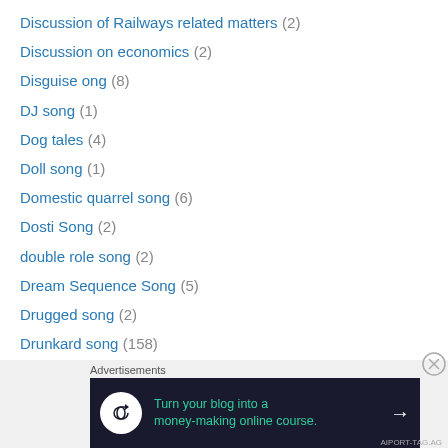Discussion of Railways related matters (2)
Discussion on economics (2)
Disguise ong (8)
DJ song (1)
Dog tales (4)
Doll song (1)
Domestic quarrel song (6)
Dosti Song (2)
double role song (2)
Dream Sequence Song (5)
Drugged song (2)
Drunkard song (158)
Female drunkard song (38)
Duet (3,849)
Aarti Mukherjee – Subir Sen Duet (1)
Aarti Mukherji Jaspal Singh duet (3)
[Figure (infographic): Advertisement banner: 'Turn your blog into a money-making online course.' with arrow on dark background]